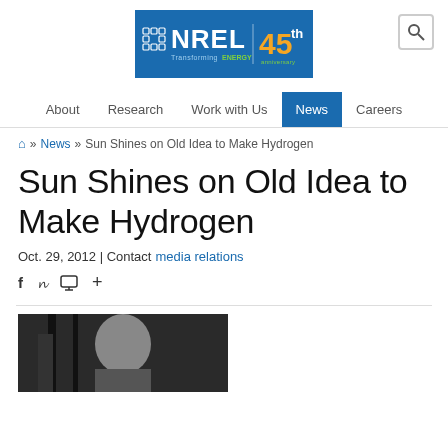[Figure (logo): NREL logo - blue rectangle with 'NREL Transforming ENERGY' text and 45th anniversary badge]
About | Research | Work with Us | News | Careers
Home » News » Sun Shines on Old Idea to Make Hydrogen
Sun Shines on Old Idea to Make Hydrogen
Oct. 29, 2012 | Contact media relations
[Figure (photo): Person holding equipment, partially visible at bottom of page]